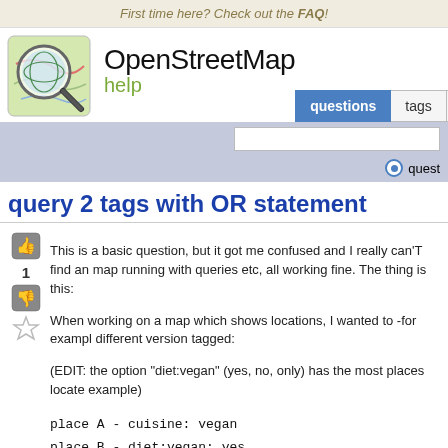First time here? Check out the FAQ!
[Figure (logo): OpenStreetMap help site logo with magnifying glass over a map]
OpenStreetMap help
questions | tags | use
query 2 tags with OR statement
This is a basic question, but it got me confused and I really can'T find an map running with queries etc, all working fine. The thing is this:
When working on a map which shows locations, I wanted to -for example different version tagged:
(EDIT: the option "diet:vegan" (yes, no, only) has the most places located example)
place A - cuisine: vegan
place B - diet:vegan: yes
place C - diet:vegan